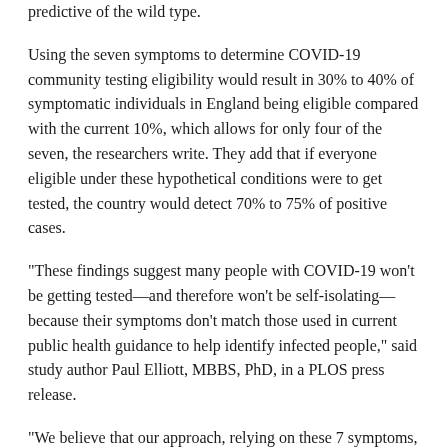predictive of the wild type.
Using the seven symptoms to determine COVID-19 community testing eligibility would result in 30% to 40% of symptomatic individuals in England being eligible compared with the current 10%, which allows for only four of the seven, the researchers write. They add that if everyone eligible under these hypothetical conditions were to get tested, the country would detect 70% to 75% of positive cases.
"These findings suggest many people with COVID-19 won't be getting tested—and therefore won't be self-isolating—because their symptoms don't match those used in current public health guidance to help identify infected people," said study author Paul Elliott, MBBS, PhD, in a PLOS press release.
"We believe that our approach, relying on these 7 symptoms, provides a reasonable balance between number of tests performed and detection rates in England, but alternative approaches could be envisaged depending on national population size, composition, and resources," write the researchers.
Sep 28 PLOS Med study